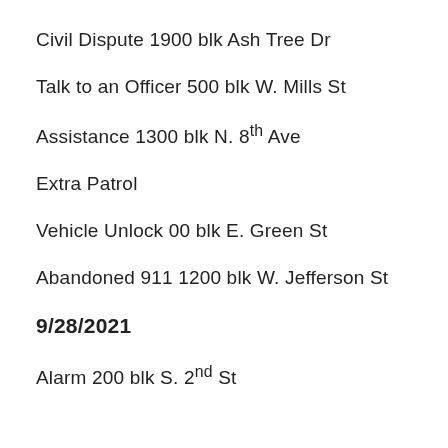Civil Dispute 1900 blk Ash Tree Dr
Talk to an Officer 500 blk W. Mills St
Assistance 1300 blk N. 8th Ave
Extra Patrol
Vehicle Unlock 00 blk E. Green St
Abandoned 911 1200 blk W. Jefferson St
9/28/2021
Alarm 200 blk S. 2nd St